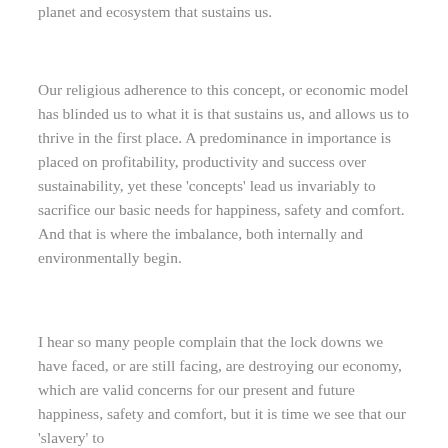planet and ecosystem that sustains us.
Our religious adherence to this concept, or economic model has blinded us to what it is that sustains us, and allows us to thrive in the first place. A predominance in importance is placed on profitability, productivity and success over sustainability, yet these 'concepts' lead us invariably to sacrifice our basic needs for happiness, safety and comfort. And that is where the imbalance, both internally and environmentally begin.
I hear so many people complain that the lock downs we have faced, or are still facing, are destroying our economy, which are valid concerns for our present and future happiness, safety and comfort, but it is time we see that our 'slavery' to